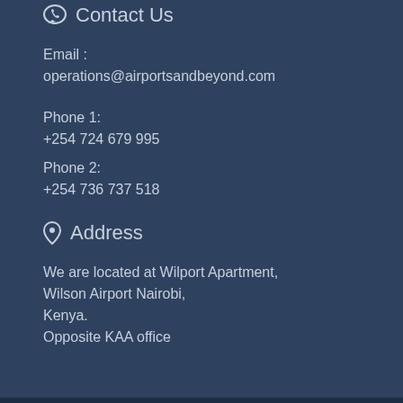Contact Us
Email :
operations@airportsandbeyond.com
Phone 1:
+254 724 679 995
Phone 2:
+254 736 737 518
Address
We are located at Wilport Apartment,
Wilson Airport Nairobi,
Kenya.
Opposite KAA office